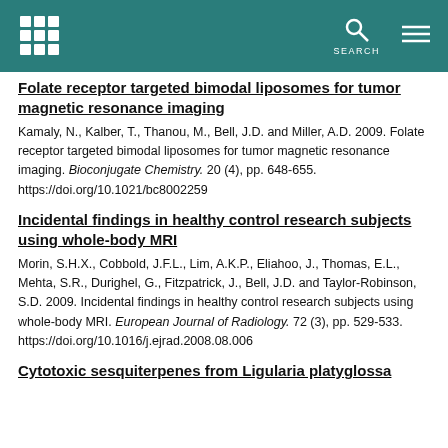SEARCH
Folate receptor targeted bimodal liposomes for tumor magnetic resonance imaging
Kamaly, N., Kalber, T., Thanou, M., Bell, J.D. and Miller, A.D. 2009. Folate receptor targeted bimodal liposomes for tumor magnetic resonance imaging. Bioconjugate Chemistry. 20 (4), pp. 648-655. https://doi.org/10.1021/bc8002259
Incidental findings in healthy control research subjects using whole-body MRI
Morin, S.H.X., Cobbold, J.F.L., Lim, A.K.P., Eliahoo, J., Thomas, E.L., Mehta, S.R., Durighel, G., Fitzpatrick, J., Bell, J.D. and Taylor-Robinson, S.D. 2009. Incidental findings in healthy control research subjects using whole-body MRI. European Journal of Radiology. 72 (3), pp. 529-533. https://doi.org/10.1016/j.ejrad.2008.08.006
Cytotoxic sesquiterpenes from Ligularia platyglossa